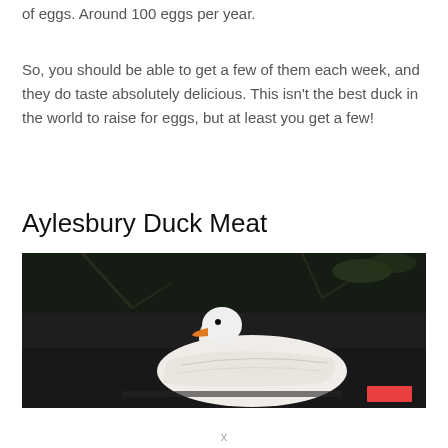of eggs. Around 100 eggs per year.
So, you should be able to get a few of them each week, and they do taste absolutely delicious. This isn't the best duck in the world to raise for eggs, but at least you get a few!
Aylesbury Duck Meat
[Figure (photo): A white Aylesbury duck with an orange bill floating on dark water, photographed against a dark natural background with vegetation.]
x